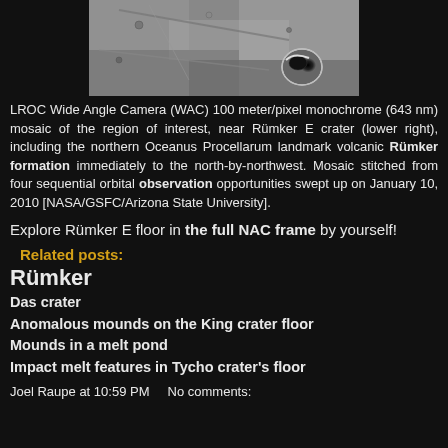[Figure (photo): Grayscale LROC Wide Angle Camera mosaic image of lunar surface near Rümker E crater, showing rocky terrain with a prominent impact crater visible at lower right.]
LROC Wide Angle Camera (WAC) 100 meter/pixel monochrome (643 nm) mosaic of the region of interest, near Rümker E crater (lower right), including the northern Oceanus Procellarum landmark volcanic Rümker formation immediately to the north-by-northwest. Mosaic stitched from four sequential orbital observation opportunities swept up on January 10, 2010 [NASA/GSFC/Arizona State University].
Explore Rümker E floor in the full NAC frame by yourself!
Related posts:
Rümker
Das crater
Anomalous mounds on the King crater floor
Mounds in a melt pond
Impact melt features in Tycho crater's floor
Joel Raupe at 10:59 PM    No comments: